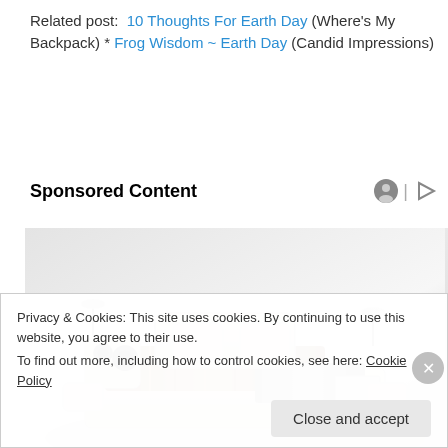Related post: 10 Thoughts For Earth Day (Where's My Backpack) * Frog Wisdom ~ Earth Day (Candid Impressions)
Sponsored Content
[Figure (photo): A high-tech luxury bed/sofa with built-in speakers, headrests, laptop stand, and massage mattress in cream/beige leather with brown striped cushion.]
Privacy & Cookies: This site uses cookies. By continuing to use this website, you agree to their use.
To find out more, including how to control cookies, see here: Cookie Policy
Close and accept